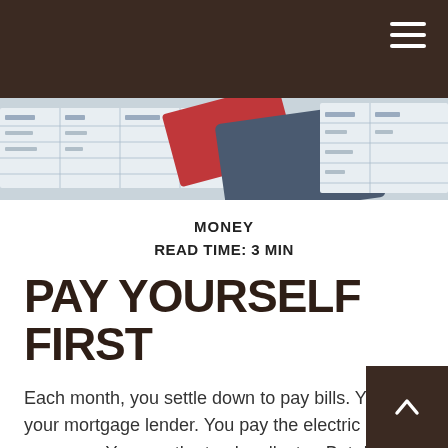[Figure (photo): Overhead photo of financial documents, a calculator, and a laptop on a desk]
MONEY
READ TIME: 3 MIN
PAY YOURSELF FIRST
Each month, you settle down to pay bills. You pay your mortgage lender. You pay the electric company. You pay the trash collector. But do you pay yourself? One of the most basic tenets of sound investing involves the simple habit of “paying yourself first” – in other words, making your first payment of each month a deposit into your savings account.